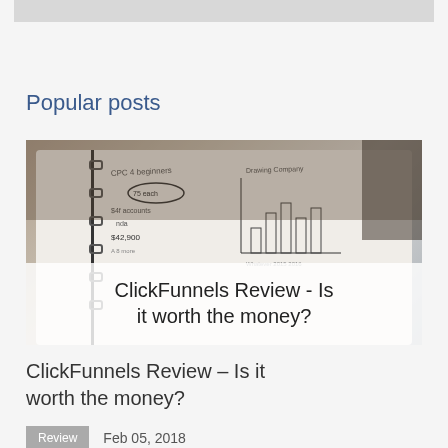[Figure (screenshot): Gray banner at top of page]
Popular posts
[Figure (photo): Photo of a person holding an open notebook/planner with handwritten notes and a bar chart sketch. Overlay text reads: ClickFunnels Review - Is it worth the money?]
ClickFunnels Review – Is it worth the money?
Review   Feb 05, 2018
[Figure (screenshot): Partial view of a second post image showing laptop screen with analytics charts and a sticky note on dark background]